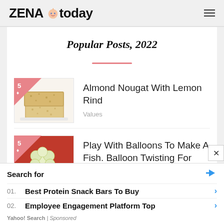ZENA today
Popular Posts, 2022
Almond Nougat With Lemon Rind — Values
Play With Balloons To Make A Fish. Balloon Twisting For
Search for
01. Best Protein Snack Bars To Buy
02. Employee Engagement Platform Top
Yahoo! Search | Sponsored